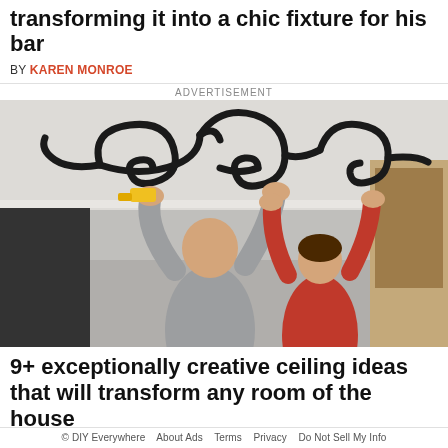transforming it into a chic fixture for his bar
BY KAREN MONROE
ADVERTISEMENT
[Figure (photo): Two men installing decorative black wrought iron scrollwork on a ceiling. One man in grey shirt holds a drill, another in red shirt assists. The ornamental piece features curling scroll designs.]
9+ exceptionally creative ceiling ideas that will transform any room of the house
BY KATIE DIEDERICHS
© DIY Everywhere   About Ads   Terms   Privacy   Do Not Sell My Info